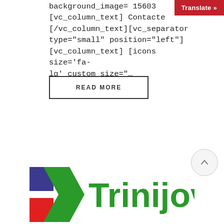background_image= 15603 [vc_column_text] Contacte [/vc_column_text][vc_separator type="small" position="left"] [vc_column_text] [icons size='fa-lg' custom_size="…
[Figure (other): Red 'Translate »' button in top-right corner]
READ MORE
[Figure (other): Circular scroll-to-top button with upward arrow]
[Figure (logo): Trinijove logo — blue square, green diagonal shape, red square forming a segmented square, with green bold text 'Trinijove']